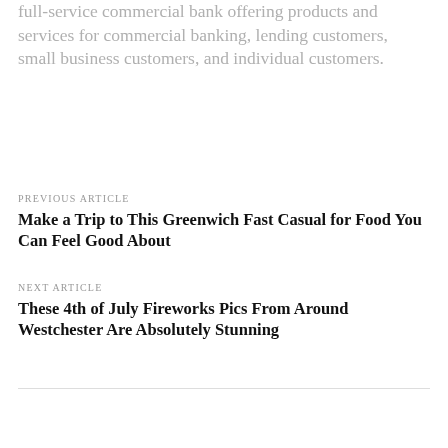full-service commercial bank offering products and services for commercial banking, lending customers, small business customers, and individual customers.
PREVIOUS ARTICLE
Make a Trip to This Greenwich Fast Casual for Food You Can Feel Good About
NEXT ARTICLE
These 4th of July Fireworks Pics From Around Westchester Are Absolutely Stunning